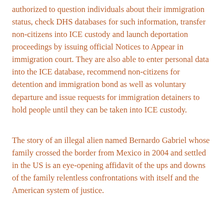authorized to question individuals about their immigration status, check DHS databases for such information, transfer non-citizens into ICE custody and launch deportation proceedings by issuing official Notices to Appear in immigration court. They are also able to enter personal data into the ICE database, recommend non-citizens for detention and immigration bond as well as voluntary departure and issue requests for immigration detainers to hold people until they can be taken into ICE custody.
The story of an illegal alien named Bernardo Gabriel whose family crossed the border from Mexico in 2004 and settled in the US is an eye-opening affidavit of the ups and downs of the family relentless confrontations with itself and the American system of justice.